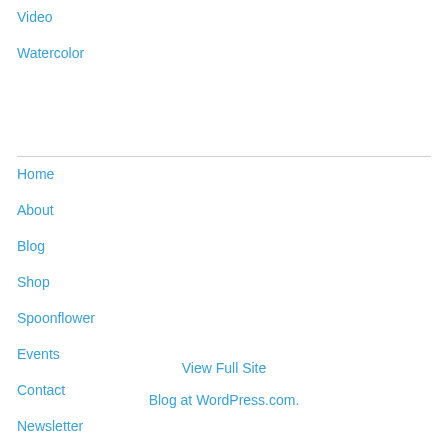Video
Watercolor
Home
About
Blog
Shop
Spoonflower
Events
Contact
Newsletter
View Full Site
Blog at WordPress.com.